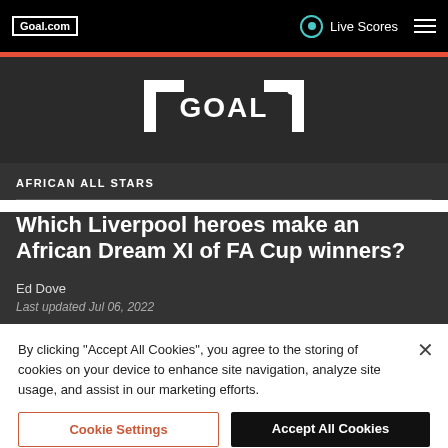Goal.com | Live Scores
[Figure (logo): GOAL logo in white on dark grey background with bracket design]
AFRICAN ALL STARS
Which Liverpool heroes make an African Dream XI of FA Cup winners?
Ed Dove
Last updated Jul 06, 2022
By clicking "Accept All Cookies", you agree to the storing of cookies on your device to enhance site navigation, analyze site usage, and assist in our marketing efforts.
Cookie Settings | Accept All Cookies